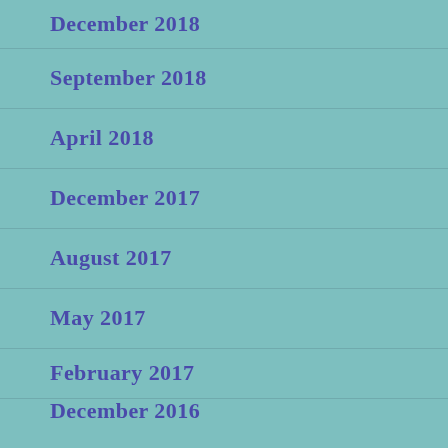December 2018
September 2018
April 2018
December 2017
August 2017
May 2017
February 2017
December 2016
July 2016